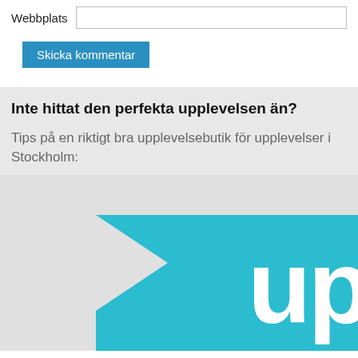Webbplats
Skicka kommentar
Inte hittat den perfekta upplevelsen än?
Tips på en riktigt bra upplevelsebutik för upplevelser i Stockholm:
[Figure (logo): Teal/cyan arrow shape pointing right with white rounded 'up' text logo on teal background, partially cropped]